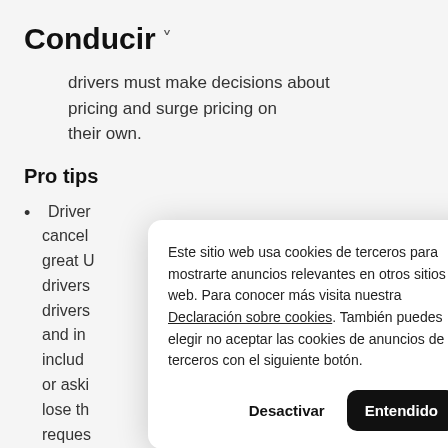Conducir ˅
drivers must make decisions about pricing and surge pricing on their own.
Pro tips
Driver cancel great U drivers drivers and in includ or aski lose th reques through the Driver app.
Este sitio web usa cookies de terceros para mostrarte anuncios relevantes en otros sitios web. Para conocer más visita nuestra Declaración sobre cookies. También puedes elegir no aceptar las cookies de anuncios de terceros con el siguiente botón.
Desactivar  Entendido